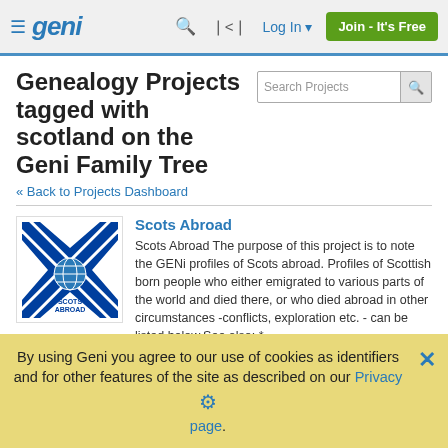Geni — Log In | Join - It's Free
Genealogy Projects tagged with scotland on the Geni Family Tree
« Back to Projects Dashboard
Scots Abroad
[Figure (logo): Scots Abroad project thumbnail showing Scottish flag with globe icon]
Scots Abroad The purpose of this project is to note the GENi profiles of Scots abroad. Profiles of Scottish born people who either emigrated to various parts of the world and died there, or who died abroad in other circumstances -conflicts, exploration etc. - can be listed below.See also: *
By using Geni you agree to our use of cookies as identifiers and for other features of the site as described on our Privacy page.